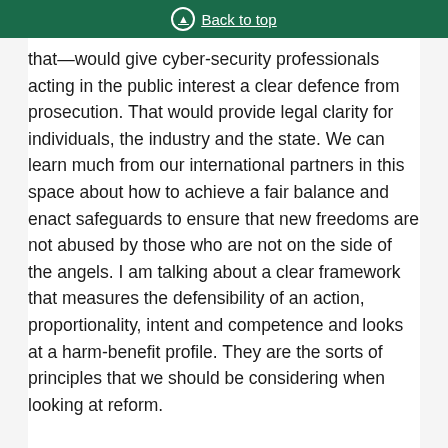Back to top
that—would give cyber-security professionals acting in the public interest a clear defence from prosecution. That would provide legal clarity for individuals, the industry and the state. We can learn much from our international partners in this space about how to achieve a fair balance and enact safeguards to ensure that new freedoms are not abused by those who are not on the side of the angels. I am talking about a clear framework that measures the defensibility of an action, proportionality, intent and competence and looks at a harm-benefit profile. They are the sorts of principles that we should be considering when looking at reform.
It seems bizarre that as we launch the National